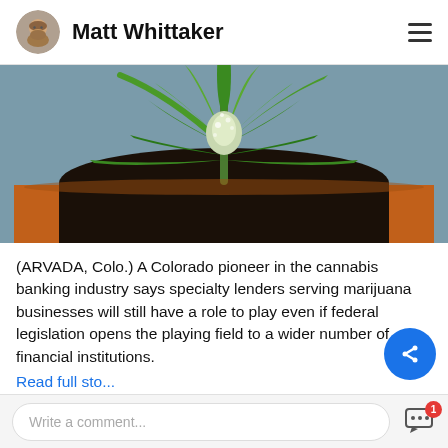Matt Whittaker
[Figure (photo): Overhead view of a cannabis plant in a terracotta pot with dark soil, green spiky leaves radiating outward, white crystalline flowers at center, blurred background.]
(ARVADA, Colo.) A Colorado pioneer in the cannabis banking industry says specialty lenders serving marijuana businesses will still have a role to play even if federal legislation opens the playing field to a wider number of financial institutions.
Read full story...